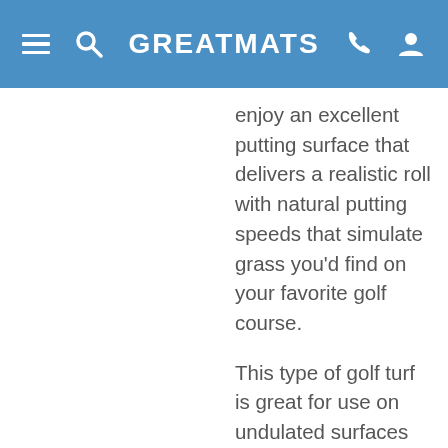GREATMATS
enjoy an excellent putting surface that delivers a realistic roll with natural putting speeds that simulate grass you'd find on your favorite golf course.
This type of golf turf is great for use on undulated surfaces and for portable applications. By creating undulations in the sub-surface, your golf green turf will have